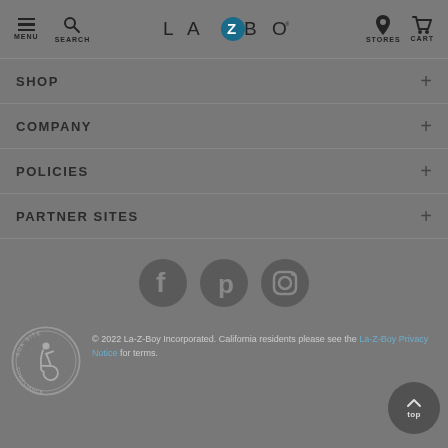MENU SEARCH LA-Z-BOY STORES CART
SHOP +
COMPANY +
POLICIES +
PARTNER SITES +
[Figure (illustration): Facebook, Pinterest, and Instagram social media icons (circular dark grey)]
[Figure (logo): ADA Site Compliance circular badge/seal]
© 2022 La-Z-Boy Incorporated. California residents please see the La-Z-Boy Privacy Notice for terms.